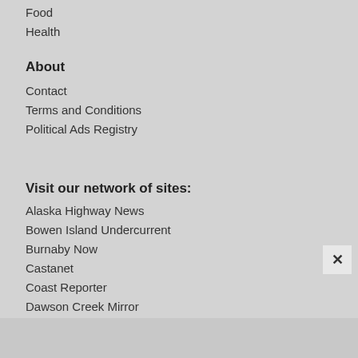Food
Health
About
Contact
Terms and Conditions
Political Ads Registry
Visit our network of sites:
Alaska Highway News
Bowen Island Undercurrent
Burnaby Now
Castanet
Coast Reporter
Dawson Creek Mirror
Delta Optimist
Lethbridge Herald
Medicine Hat News